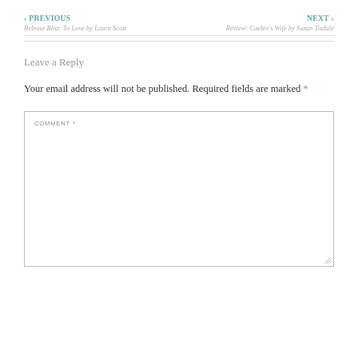‹ PREVIOUS
Release Blitz: To Love by Laura Scott
NEXT ›
Review: Caelen's Wife by Suzan Tisdale
Leave a Reply
Your email address will not be published. Required fields are marked *